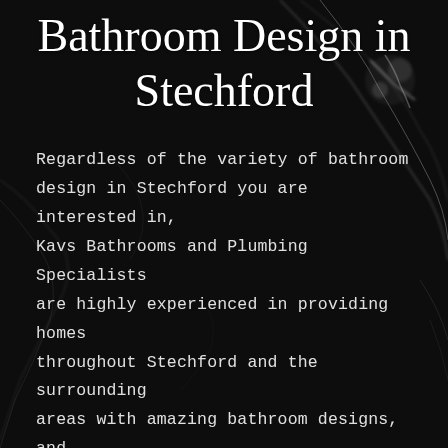Bathroom Design in Stechford
Regardless of the variety of bathroom design in Stechford you are interested in, Kavs Bathrooms and Plumbing Specialists are highly experienced in providing homes throughout Stechford and the surrounding areas with amazing bathroom designs, and offer a stunning selection of bathroom products to choose from.
Call Now